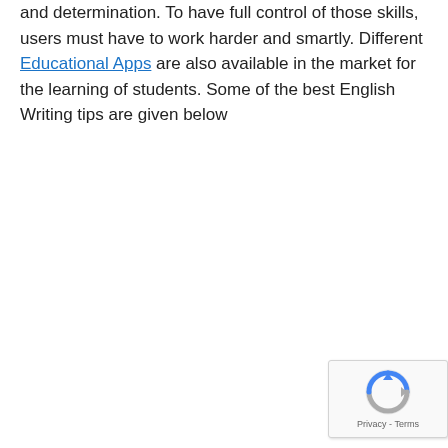and determination. To have full control of those skills, users must have to work harder and smartly. Different Educational Apps are also available in the market for the learning of students. Some of the best English Writing tips are given below
[Figure (other): reCAPTCHA widget with circular arrow logo and Privacy - Terms text]